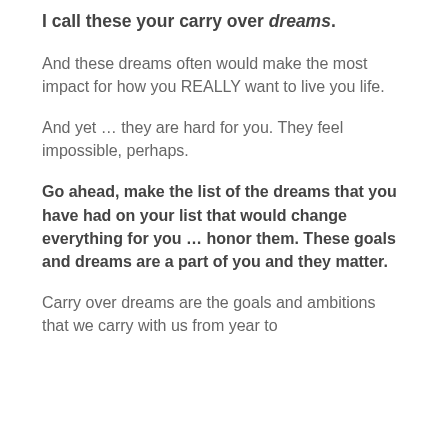I call these your carry over dreams.
And these dreams often would make the most impact for how you REALLY want to live you life.
And yet … they are hard for you. They feel impossible, perhaps.
Go ahead, make the list of the dreams that you have had on your list that would change everything for you … honor them. These goals and dreams are a part of you and they matter.
Carry over dreams are the goals and ambitions that we carry with us from year to